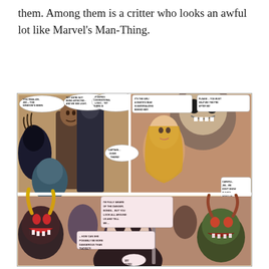them. Among them is a critter who looks an awful lot like Marvel's Man-Thing.
[Figure (illustration): A comic book page spread showing multiple panels. Characters include a skull-faced figure (Captain Skull/Death's Head), a blonde woman in distress, armored warriors, and various monsters. Speech bubbles include: 'YOU REALIZE, JIM -- THE WINDOW'S BEEN SHATTERED... AND THERE'S NOTHING SURROUNDING US BUT SPACE...', 'YET, WE'RE NOT BEING AFFECTED... AND WE SEE LIGHTNING OUT THERE... AND HEAR THE THUNDER', 'IT DEFIES CONVENTIONAL LOGIC... YET THERE IS REASON AND PLANNING BEHIND IT.', 'IT'S THE GIRL! A DEATH'S HEAD IS MATERIALIZING BEHIND HER!', 'PLEASE... YOU MUST HELP ME! THEY'RE AFTER ME!', 'CAPTAIN... OVER THERE!', 'CAREFUL, JIM... WE DON'T KNOW IF SHE'S MIXED UP WITH THIS!', 'I'M FULLY AWARE OF THE DANGER, BONES... BUT YOU LOOK ALL AROUND US AND TELL ME --', '-- HOW CAN SHE POSSIBLY BE MORE DANGEROUS THAN THOSE?!', 'MY GOD!']